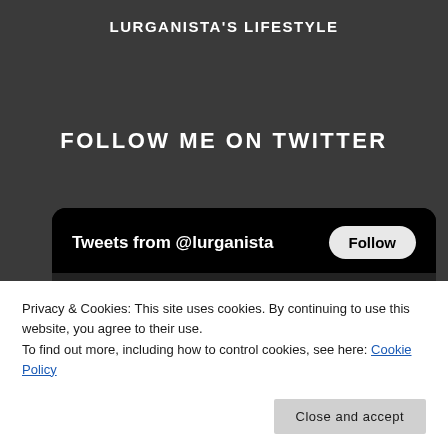LURGANISTA'S LIFESTYLE
FOLLOW ME ON TWITTER
[Figure (screenshot): Twitter widget showing 'Tweets from @lurganista' with a Follow button, dark background, partially visible tweet content about Reeves in a hotel lobby]
Privacy & Cookies: This site uses cookies. By continuing to use this website, you agree to their use. To find out more, including how to control cookies, see here: Cookie Policy
Close and accept